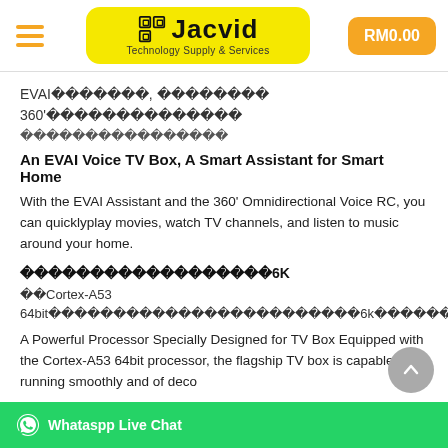Jacvid Technology Supply & Services | RM0.00
EVAI语音助手, 智慧家庭助理
360°全方位立体声语音遥控
超强智能AI语音识别系统
An EVAI Voice TV Box, A Smart Assistant for Smart Home
With the EVAI Assistant and the 360' Omnidirectional Voice RC, you can quicklyplay movies, watch TV channels, and listen to music around your home.
超高清解码技术支持H.265超清6K
采用Cortex-A53 64bit高性能处理器架构，专为电视盒子设计的6k专属解码技术，完美支持最高6k极清分辨率
A Powerful Processor Specially Designed for TV Box Equipped with the Cortex-A53 64bit processor, the flagship TV box is capable of running smoothly and of deco...